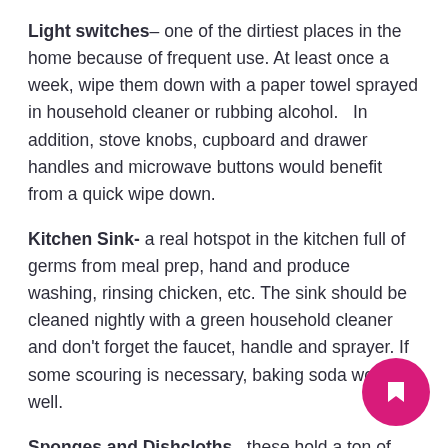Light switches– one of the dirtiest places in the home because of frequent use. At least once a week, wipe them down with a paper towel sprayed in household cleaner or rubbing alcohol.   In addition, stove knobs, cupboard and drawer handles and microwave buttons would benefit from a quick wipe down.
Kitchen Sink- a real hotspot in the kitchen full of germs from meal prep, hand and produce washing, rinsing chicken, etc. The sink should be cleaned nightly with a green household cleaner and don't forget the faucet, handle and sprayer. If some scouring is necessary, baking soda works well.
Sponges and Dishcloths– these hold a ton of germs and should be frequently washed or replaced.